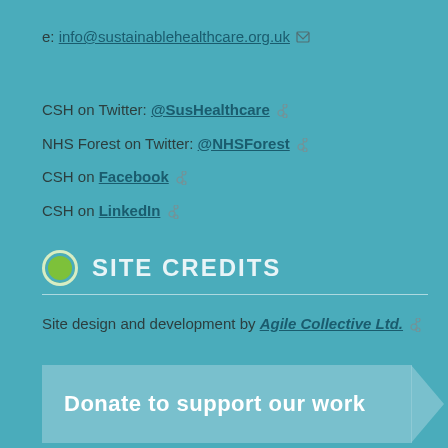e: info@sustainablehealthcare.org.uk
CSH on Twitter: @SusHealthcare
NHS Forest on Twitter: @NHSForest
CSH on Facebook
CSH on LinkedIn
SITE CREDITS
Site design and development by Agile Collective Ltd.
Donate to support our work